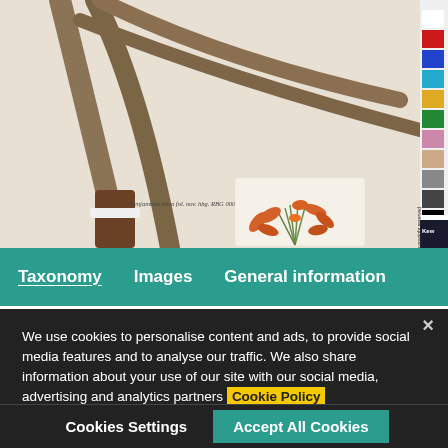[Figure (photo): Herbarium specimen sheet from Royal Botanic Gardens Kew showing dried plant with long strap-like leaves, a botanical illustration of an orchid with orange flowers, handwritten labels including 'Schomburghia crispa Lindl' and 'Benjaminia nova fol.', a barcode label (K000081517), and a color calibration strip on the right edge.]
Taxonomy    Images    General information
We use cookies to personalise content and ads, to provide social media features and to analyse our traffic. We also share information about your use of our site with our social media, advertising and analytics partners Cookie Policy
Cookies Settings    Accept All Cookies